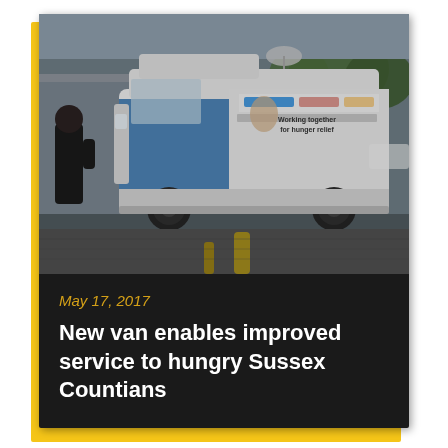[Figure (photo): A white delivery van/cargo van with hunger relief branding, showing logos for Walmart and food bank organizations. The van has a wrap that reads 'Working together for hunger relief' with images of people. A person in dark clothing stands to the left. The van is in a parking lot with a gravel/asphalt surface. Yellow parking barriers/bollards are visible in the foreground. Trees are visible in the background.]
May 17, 2017
New van enables improved service to hungry Sussex Countians